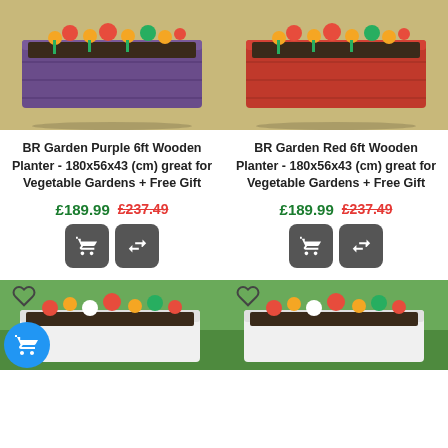[Figure (photo): Purple wooden planter box filled with orange and yellow flowers on gravel]
[Figure (photo): Red wooden planter box filled with orange and yellow flowers on gravel]
BR Garden Purple 6ft Wooden Planter - 180x56x43 (cm) great for Vegetable Gardens + Free Gift
£189.99  £237.49
BR Garden Red 6ft Wooden Planter - 180x56x43 (cm) great for Vegetable Gardens + Free Gift
£189.99  £237.49
[Figure (photo): White/green wooden planter with colorful flowers on grass — bottom left product]
[Figure (photo): White wooden planter with colorful flowers on grass — bottom right product]